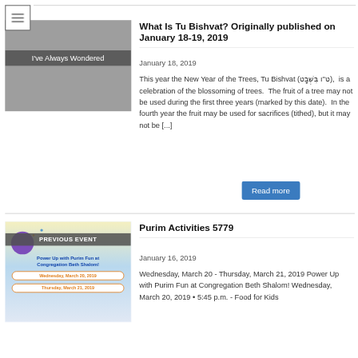What Is Tu Bishvat? Originally published on January 18-19, 2019
January 18, 2019
This year the New Year of the Trees, Tu Bishvat (ט"ו בִּשְׁבָט), is a celebration of the blossoming of trees. The fruit of a tree may not be used during the first three years (marked by this date). In the fourth year the fruit may be used for sacrifices (tithed), but it may not be [...]
Purim Activities 5779
January 16, 2019
Wednesday, March 20 - Thursday, March 21, 2019 Power Up with Purim Fun at Congregation Beth Shalom! Wednesday, March 20, 2019 • 5:45 p.m. - Food for Kids